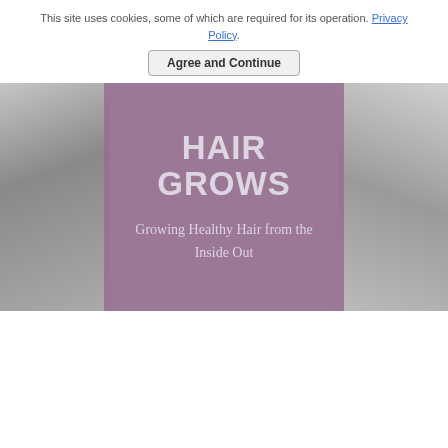This site uses cookies, some of which are required for its operation. Privacy Policy.
Agree and Continue
[Figure (photo): Hero banner image with a central mauve/purple overlay box containing the title 'HAIR GROWS' and subtitle 'Growing Healthy Hair from the Inside Out'. Grayscale photos of women with hair visible on left and right sides.]
HAIR GROWS
Growing Healthy Hair from the Inside Out